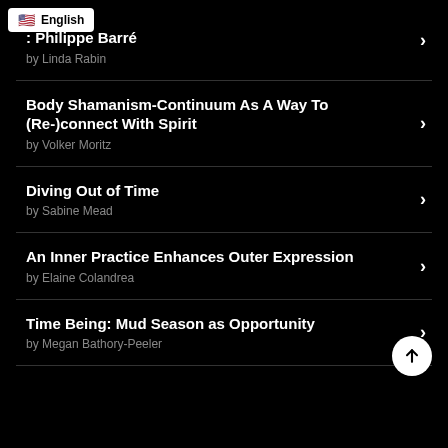English
: Philippe Barré
by Linda Rabin
Body Shamanism-Continuum As A Way To (Re-)connect With Spirit
by Volker Moritz
Diving Out of Time
by Sabine Mead
An Inner Practice Enhances Outer Expression
by Elaine Colandrea
Time Being: Mud Season as Opportunity
by Megan Bathory-Peeler